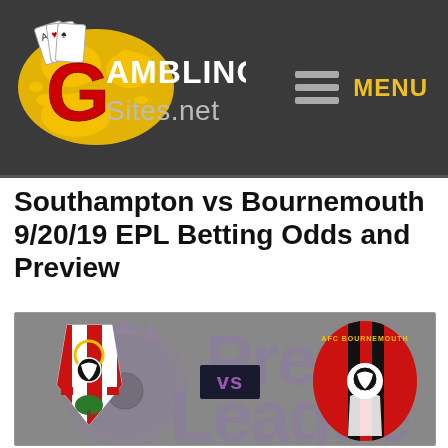[Figure (logo): GamblingSites.net logo with playing cards and yellow splatter graphic]
[Figure (logo): Hamburger menu icon and MENU text in yellow]
Southampton vs Bournemouth 9/20/19 EPL Betting Odds and Preview
[Figure (illustration): Match preview graphic showing Southampton FC crest vs AFC Bournemouth crest with Premier League watermark background, purple VS text on dark box in center]